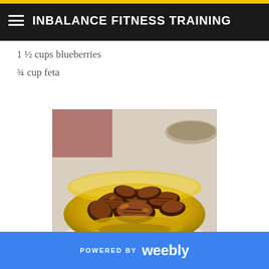INBALANCE FITNESS TRAINING
1 ½ cups blueberries
¾ cup feta
[Figure (photo): A yellow bowl filled with glazed/candied pecans, with another bowl of nuts blurred in the background]
POWERED BY weebly